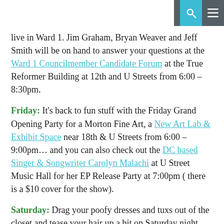[search and menu icons]
live in Ward 1. Jim Graham, Bryan Weaver and Jeff Smith will be on hand to answer your questions at the Ward 1 Councilmember Candidate Forum at the True Reformer Building at 12th and U Streets from 6:00 – 8:30pm.
Friday: It's back to fun stuff with the Friday Grand Opening Party for a Morton Fine Art, a New Art Lab & Exhibit Space near 18th & U Streets from 6:00 – 9:00pm… and you can also check out the DC based Singer & Songwriter Carolyn Malachi at U Street Music Hall for her EP Release Party at 7:00pm ( there is a $10 cover for the show).
Saturday: Drag your poofy dresses and tuxs out of the closet and tease your hair up a bit on Saturday night and revisit your high school days at the free Prom Themed Party at Axum on U Street, where they'll keeping with the Prom theme and playing 80's and 90's music from